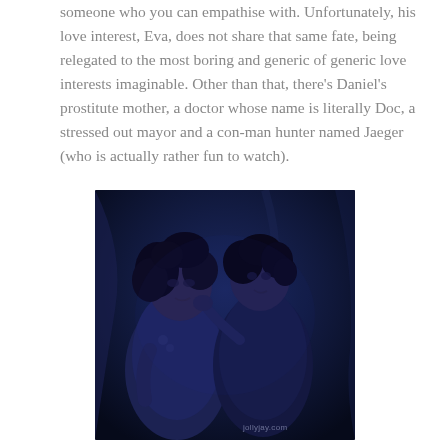someone who you can empathise with. Unfortunately, his love interest, Eva, does not share that same fate, being relegated to the most boring and generic of generic love interests imaginable. Other than that, there's Daniel's prostitute mother, a doctor whose name is literally Doc, a stressed out mayor and a con-man hunter named Jaeger (who is actually rather fun to watch).
[Figure (photo): A dark blue-tinted still from a TV show or film showing two young people — a young woman with curly hair on the left and a young man on the right — sitting close together in a dimly lit setting. A watermark reading 'jollyjay.com' is visible in the bottom right.]